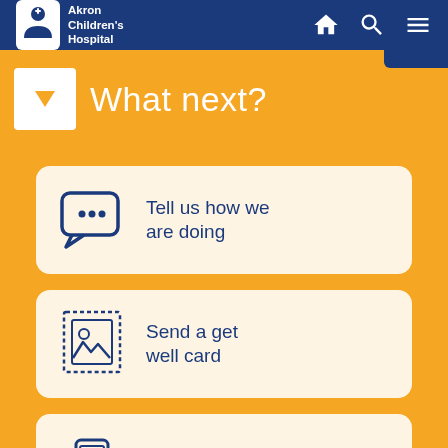Akron Children's Hospital
What next?
Tell us how we are doing
Send a get well card
Monitor Your